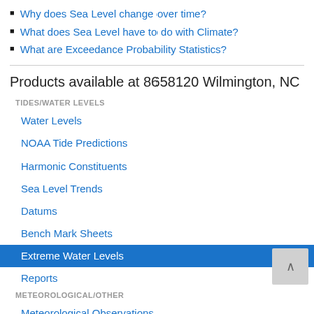Why does Sea Level change over time?
What does Sea Level have to do with Climate?
What are Exceedance Probability Statistics?
Products available at 8658120 Wilmington, NC
TIDES/WATER LEVELS
Water Levels
NOAA Tide Predictions
Harmonic Constituents
Sea Level Trends
Datums
Bench Mark Sheets
Extreme Water Levels
Reports
METEOROLOGICAL/OTHER
Meteorological Observations
Water Temp/Conductivity
PORTS®
This station is not a member of PORTS®
OPERATIONAL FORECAST SYSTEMS